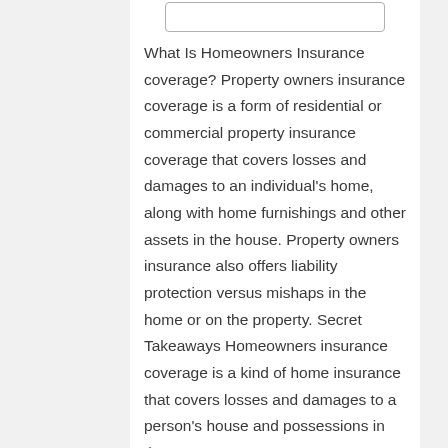[Figure (other): A rounded rectangle box containing a blue underlined hyperlink (partially visible/cut off at top)]
What Is Homeowners Insurance coverage? Property owners insurance coverage is a form of residential or commercial property insurance coverage that covers losses and damages to an individual's home, along with home furnishings and other assets in the house. Property owners insurance also offers liability protection versus mishaps in the home or on the property. Secret Takeaways Homeowners insurance coverage is a kind of home insurance that covers losses and damages to a person's house and possessions in the...